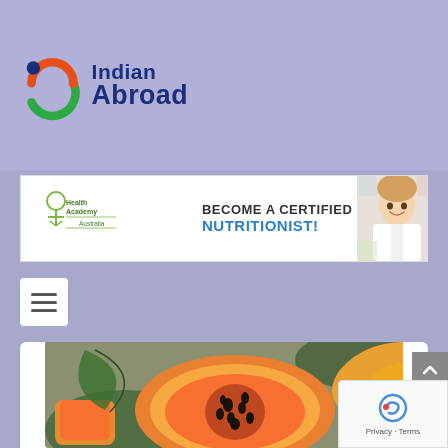[Figure (logo): Indian Abroad logo with colorful 'ia' icon and bold dark blue text 'Indian Abroad']
[Figure (infographic): Health Academy Australia advertisement banner: 'BECOME A CERTIFIED NUTRITIONIST!' with logo and photo of nutritionist]
[Figure (other): Hamburger menu button (three horizontal lines)]
Vitamin E benefits your skin
Posted by Indian Abroad News Desk | Jun 22, 2022 | Beauty
[Figure (photo): Close-up photo of sliced papaya with seeds on green leaves]